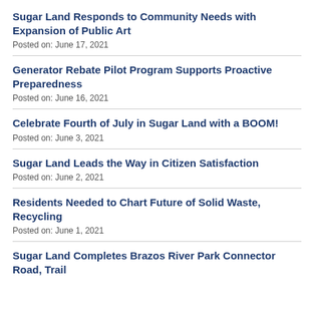Sugar Land Responds to Community Needs with Expansion of Public Art
Posted on: June 17, 2021
Generator Rebate Pilot Program Supports Proactive Preparedness
Posted on: June 16, 2021
Celebrate Fourth of July in Sugar Land with a BOOM!
Posted on: June 3, 2021
Sugar Land Leads the Way in Citizen Satisfaction
Posted on: June 2, 2021
Residents Needed to Chart Future of Solid Waste, Recycling
Posted on: June 1, 2021
Sugar Land Completes Brazos River Park Connector Road, Trail